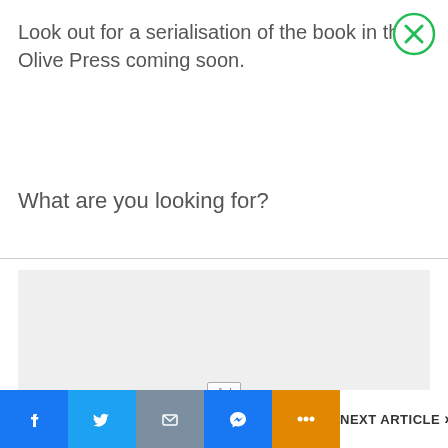Look out for a serialisation of the book in the Olive Press coming soon.
[Figure (other): Green circle close/dismiss button with X icon in upper right corner]
What are you looking for?
[Figure (other): Advertisement placeholder area (grey box)]
Ad
[Figure (infographic): Bottom social share bar with Facebook, Twitter, Email, Messenger, More buttons and NEXT ARTICLE link]